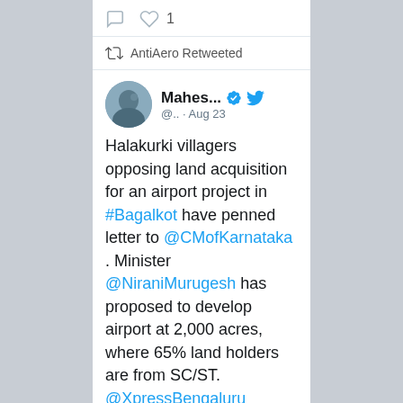[Figure (screenshot): Twitter/social media screenshot showing a retweet by AntiAero of a tweet by Mahes... (@..) dated Aug 23, with tweet text about Halakurki villagers opposing land acquisition for an airport project in #Bagalkot]
AntiAero Retweeted
Mahes... @.. · Aug 23
Halakurki villagers opposing land acquisition for an airport project in #Bagalkot have penned letter to @CMofKarnataka . Minister @NiraniMurugesh has proposed to develop airport at 2,000 acres, where 65% land holders are from SC/ST. @XpressBengaluru @AshwiniMS_TNIE @GovindKarjol
The following